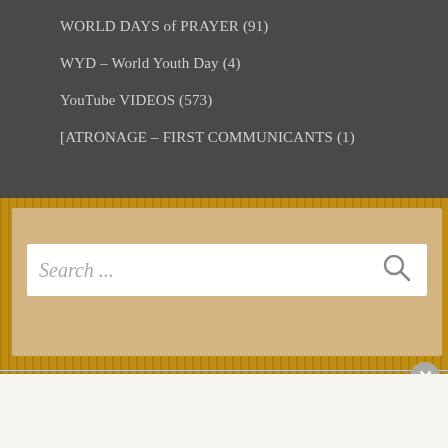WORLD DAYS of PRAYER (91)
WYD – World Youth Day (4)
YouTube VIDEOS (573)
[ATRONAGE – FIRST COMMUNICANTS (1)
[Figure (screenshot): Search box with placeholder text 'Search ...' and a search icon on a tan/gold background]
Advertisements
[Figure (screenshot): Seamless food delivery advertisement banner with pizza image, seamless red logo, and ORDER NOW button]